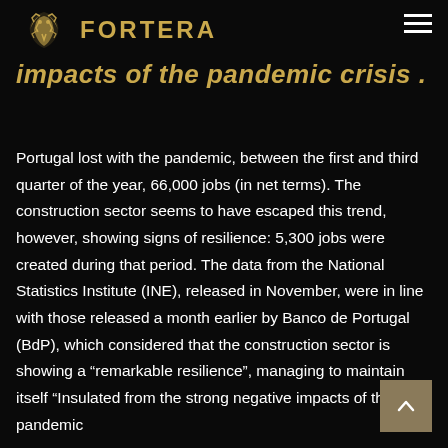FORTERA
impacts of the pandemic crisis .
Portugal lost with the pandemic, between the first and third quarter of the year, 66,000 jobs (in net terms). The construction sector seems to have escaped this trend, however, showing signs of resilience: 5,300 jobs were created during that period. The data from the National Statistics Institute (INE), released in November, were in line with those released a month earlier by Banco de Portugal (BdP), which considered that the construction sector is showing a “remarkable resilience”, managing to maintain itself “Insulated from the strong negative impacts of the pandemic